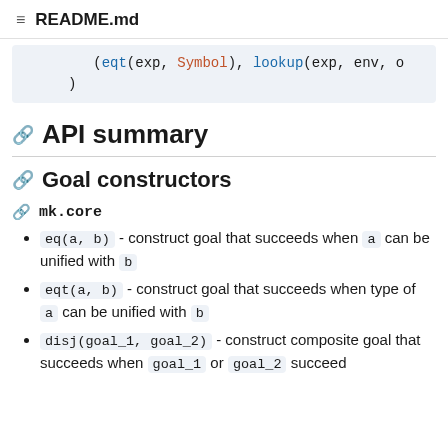README.md
(eqt(exp, Symbol), lookup(exp, env, o
    )
API summary
Goal constructors
mk.core
eq(a, b) - construct goal that succeeds when a can be unified with b
eqt(a, b) - construct goal that succeeds when type of a can be unified with b
disj(goal_1, goal_2) - construct composite goal that succeeds when goal_1 or goal_2 succeed